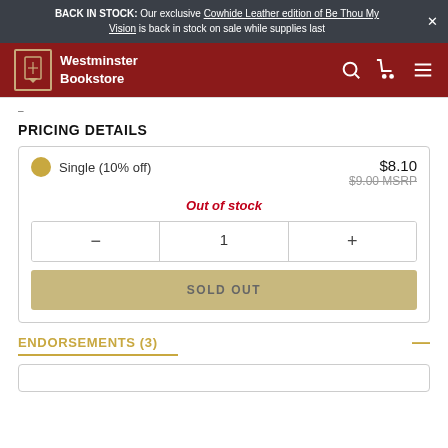BACK IN STOCK: Our exclusive Cowhide Leather edition of Be Thou My Vision is back in stock on sale while supplies last
[Figure (logo): Westminster Bookstore logo with navigation bar on dark red background]
PRICING DETAILS
Single (10% off) — $8.10 / $9.00 MSRP
Out of stock
Quantity selector: − 1 +
SOLD OUT
ENDORSEMENTS (3)